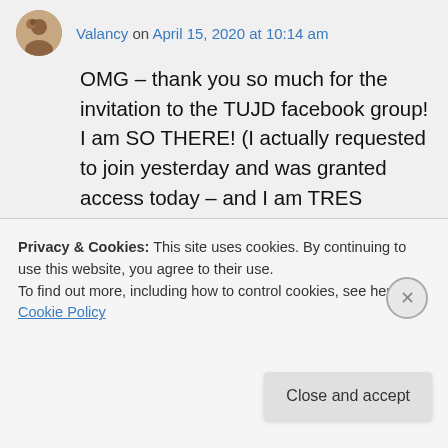Valancy on April 15, 2020 at 10:14 am
OMG – thank you so much for the invitation to the TUJD facebook group! I am SO THERE! (I actually requested to join yesterday and was granted access today – and I am TRES excited.... I followed the blog-page by the same name years ago, but I'm not a huge facebook person, so I didn't realise that group was a thing! I also realised it has been SO long since I
Privacy & Cookies: This site uses cookies. By continuing to use this website, you agree to their use.
To find out more, including how to control cookies, see here: Cookie Policy
Close and accept